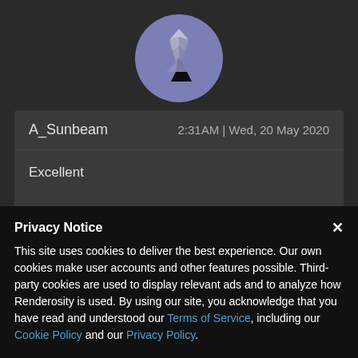[Figure (logo): Circular blue/purple avatar with a metallic angular figure/logo design on a dark background]
A_Sunbeam
2:31AM | Wed, 20 May 2020
Excellent
[Figure (photo): Top of a person's head with dark reddish hair, partially visible]
Privacy Notice
This site uses cookies to deliver the best experience. Our own cookies make user accounts and other features possible. Third-party cookies are used to display relevant ads and to analyze how Renderosity is used. By using our site, you acknowledge that you have read and understood our Terms of Service, including our Cookie Policy and our Privacy Policy.